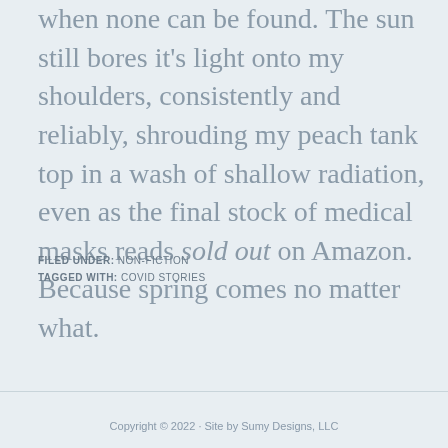when none can be found. The sun still bores it's light onto my shoulders, consistently and reliably, shrouding my peach tank top in a wash of shallow radiation, even as the final stock of medical masks reads sold out on Amazon. Because spring comes no matter what.
FILED UNDER: NON-FICTION
TAGGED WITH: COVID STORIES
Copyright © 2022 · Site by Sumy Designs, LLC